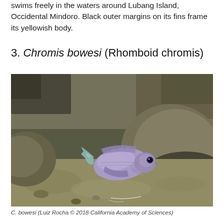swims freely in the waters around Lubang Island, Occidental Mindoro. Black outer margins on its fins frame its yellowish body.
3. Chromis bowesi (Rhomboid chromis)
[Figure (photo): Underwater photograph of Chromis bowesi (Rhomboid chromis), a small lavender-purple fish with a round body swimming near rocky substrate on the seafloor.]
C. bowesi (Luiz Rocha © 2018 California Academy of Sciences)